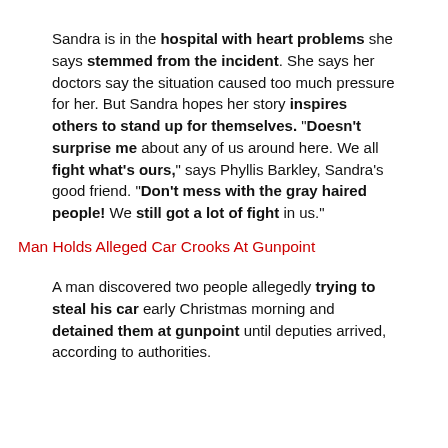Sandra is in the hospital with heart problems she says stemmed from the incident. She says her doctors say the situation caused too much pressure for her. But Sandra hopes her story inspires others to stand up for themselves. "Doesn't surprise me about any of us around here. We all fight what's ours," says Phyllis Barkley, Sandra's good friend. "Don't mess with the gray haired people! We still got a lot of fight in us."
Man Holds Alleged Car Crooks At Gunpoint
A man discovered two people allegedly trying to steal his car early Christmas morning and detained them at gunpoint until deputies arrived, according to authorities.